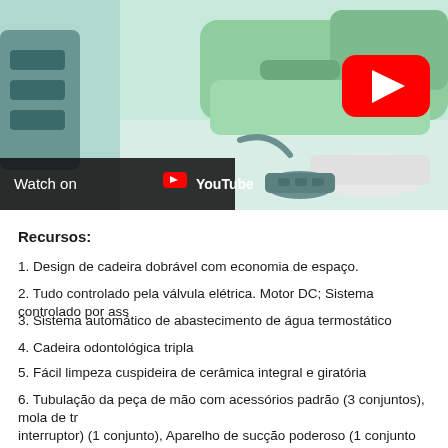[Figure (screenshot): Video thumbnail showing a dental chair in a clinical setting with green upholstery and equipment. A YouTube play button (red with white triangle) is visible in the upper right area. A 'Watch on YouTube' overlay bar appears at the bottom left.]
Recursos:
1. Design de cadeira dobrável com economia de espaço.
2. Tudo controlado pela válvula elétrica. Motor DC; Sistema controlado por ass
3. Sistema automático de abastecimento de água termostático
4. Cadeira odontológica tripla
5. Fácil limpeza cuspideira de cerâmica integral e giratória
6. Tubulação da peça de mão com acessórios padrão (3 conjuntos), mola de tr interruptor) (1 conjunto), Aparelho de sucção poderoso (1 conjunto cada)